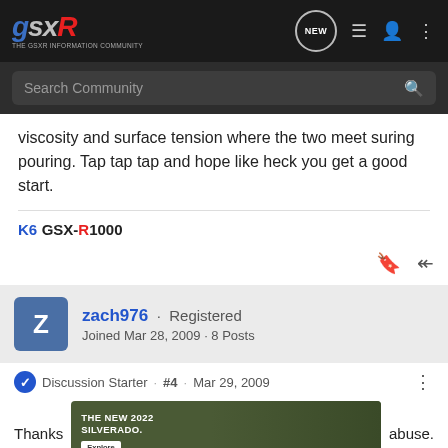GSXR Forum – Search Community
viscosity and surface tension where the two meet suring pouring. Tap tap tap and hope like heck you get a good start.
K6 GSX-R1000
zach976 · Registered
Joined Mar 28, 2009 · 8 Posts
Discussion Starter · #4 · Mar 29, 2009
Thanks   abuse.
[Figure (screenshot): Chevrolet Silverado 2022 advertisement banner showing a truck in outdoor setting with text 'THE NEW 2022 SILVERADO.' and Explore button and Chevrolet logo]